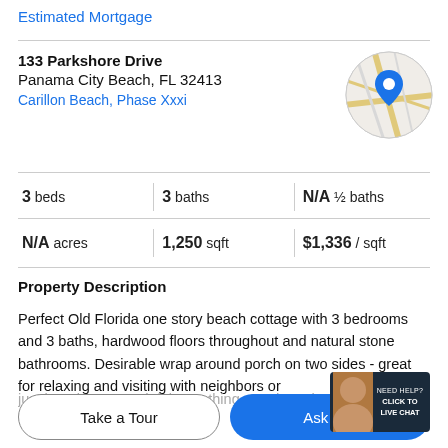Estimated Mortgage
133 Parkshore Drive
Panama City Beach, FL 32413
Carillon Beach, Phase Xxxi
[Figure (map): Circular map thumbnail with a blue location pin marker on a road map background]
3 beds | 3 baths | N/A ½ baths
N/A acres | 1,250 sqft | $1,336 / sqft
Property Description
Perfect Old Florida one story beach cottage with 3 bedrooms and 3 baths, hardwood floors throughout and natural stone bathrooms. Desirable wrap around porch on two sides - great for relaxing and visiting with neighbors or just hanging out and doing nothing. Outdoor shower with
Take a Tour
Ask A Q…